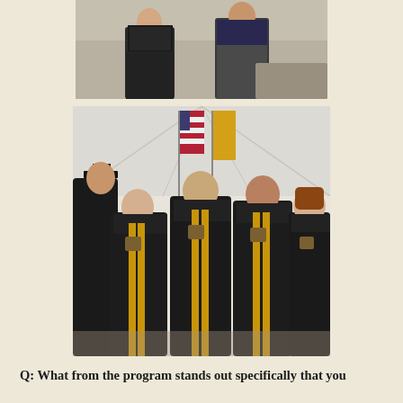[Figure (photo): Two people posing indoors, one wearing a black patterned dress and the other in dark pants and jacket, appears to be after a graduation or formal event.]
[Figure (photo): Four graduates in black graduation gowns with gold stoles posing together under a tent, with an American flag and a gold flag visible behind them.]
Q: What from the program stands out specifically that you